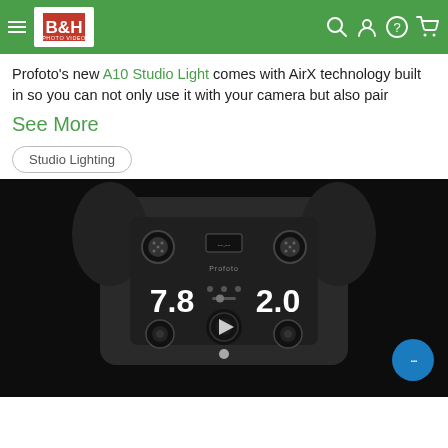B&H Photo Video (navigation header with hamburger menu, B&H logo, search, account, help, cart icons on green background)
Profoto's new A10 Studio Light comes with AirX technology built in so you can not only use it with your camera but also pair
See More
Studio Lighting
[Figure (photo): A Profoto A10 Studio Light shown from the back in a dark setting, displaying '7.8' on the left and '2.0' on the right of its control panel, with a play button overlay in the center, and a blue chat bubble in the bottom right corner.]